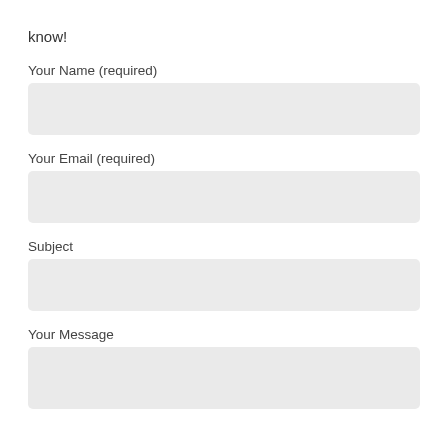know!
Your Name (required)
[Figure (other): Text input field for Your Name]
Your Email (required)
[Figure (other): Text input field for Your Email]
Subject
[Figure (other): Text input field for Subject]
Your Message
[Figure (other): Text area for Your Message]